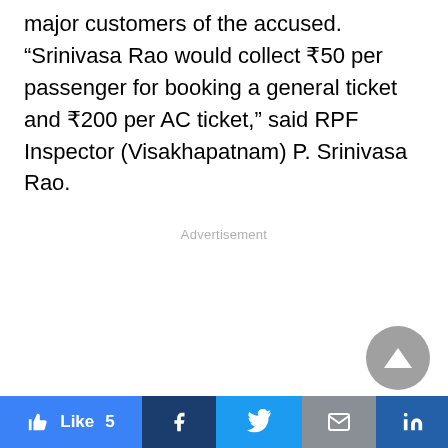major customers of the accused. “Srinivasa Rao would collect ₹50 per passenger for booking a general ticket and ₹200 per AC ticket,” said RPF Inspector (Visakhapatnam) P. Srinivasa Rao.
Advertisement
[Figure (other): Scroll to top button - circular grey button with upward triangle arrow]
Like 5 | Facebook | Twitter | Email | LinkedIn | WhatsApp | Telegram share buttons